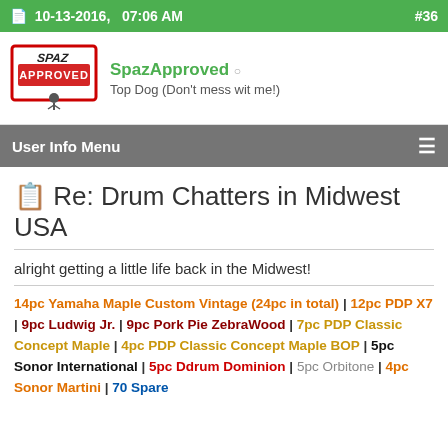10-13-2016, 07:06 AM  #36
[Figure (illustration): SpazApproved stamp logo with cartoon character]
SpazApproved ○
Top Dog (Don't mess wit me!)
User Info Menu
📄 Re: Drum Chatters in Midwest USA
alright getting a little life back in the Midwest!
14pc Yamaha Maple Custom Vintage (24pc in total) | 12pc PDP X7 | 9pc Ludwig Jr. | 9pc Pork Pie ZebraWood | 7pc PDP Classic Concept Maple | 4pc PDP Classic Concept Maple BOP | 5pc Sonor International | 5pc Ddrum Dominion | 5pc Orbitone | 4pc Sonor Martini | 70 Spare